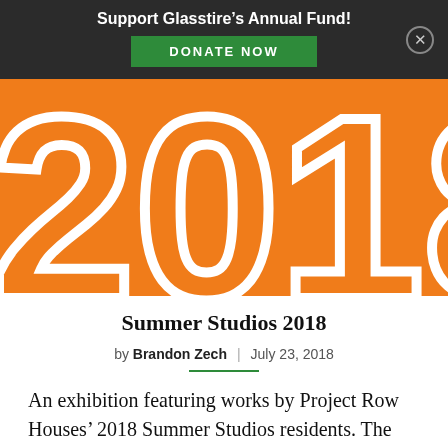Support Glasstire's Annual Fund! DONATE NOW
[Figure (illustration): Orange background graphic with large white numerals '2018' in stylized outline font]
Summer Studios 2018
by Brandon Zech  |  July 23, 2018
An exhibition featuring works by Project Row Houses' 2018 Summer Studios residents. The mentors for this year's group of artists were CASE-PRH Fellows Regina Agu and Eyakem Gulilat. 2018 Residents include...